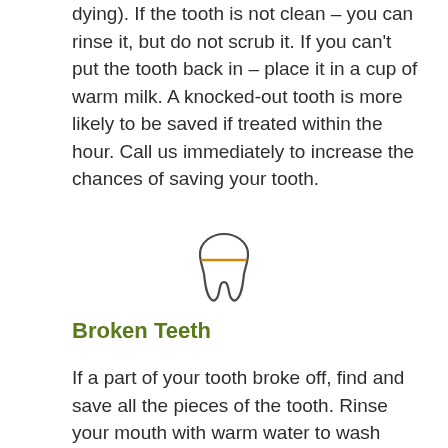dying). If the tooth is not clean – you can rinse it, but do not scrub it. If you can't put the tooth back in – place it in a cup of warm milk. A knocked-out tooth is more likely to be saved if treated within the hour. Call us immediately to increase the chances of saving your tooth.
[Figure (illustration): A line-art tooth icon with an orange horizontal line crossing through its middle section]
Broken Teeth
If a part of your tooth broke off, find and save all the pieces of the tooth. Rinse your mouth with warm water to wash away smaller pieces. If you are bleeding, apply a piece of sterile gauze on the area until the bleeding stops. You